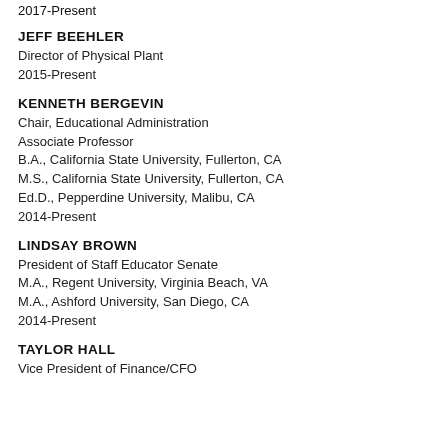2017-Present
JEFF BEEHLER
Director of Physical Plant
2015-Present
KENNETH BERGEVIN
Chair, Educational Administration
Associate Professor
B.A., California State University, Fullerton, CA
M.S., California State University, Fullerton, CA
Ed.D., Pepperdine University, Malibu, CA
2014-Present
LINDSAY BROWN
President of Staff Educator Senate
M.A., Regent University, Virginia Beach, VA
M.A., Ashford University, San Diego, CA
2014-Present
TAYLOR HALL
Vice President of Finance/CFO